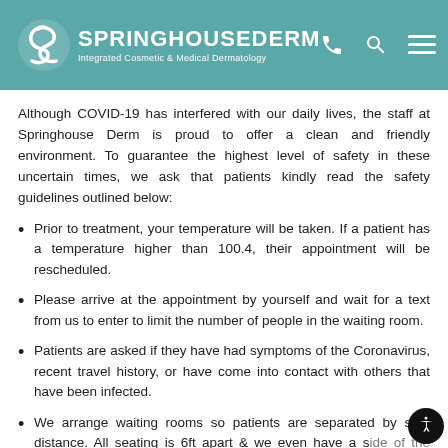SPRINGHOUSE DERM — Integrated Cosmetic & Medical Dermatology
Although COVID-19 has interfered with our daily lives, the staff at Springhouse Derm is proud to offer a clean and friendly environment. To guarantee the highest level of safety in these uncertain times, we ask that patients kindly read the safety guidelines outlined below:
Prior to treatment, your temperature will be taken. If a patient has a temperature higher than 100.4, their appointment will be rescheduled.
Please arrive at the appointment by yourself and wait for a text from us to enter to limit the number of people in the waiting room.
Patients are asked if they have had symptoms of the Coronavirus, recent travel history, or have come into contact with others that have been infected.
We arrange waiting rooms so patients are separated by safe distance. All seating is 6ft apart & we even have a side of the waiting room for those at higher risk.